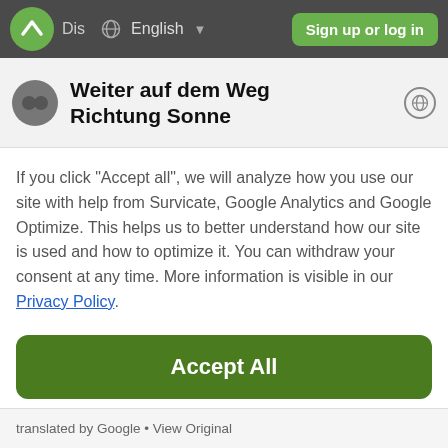Dis  English  Sign up or log in
Weiter auf dem Weg Richtung Sonne
If you click "Accept all", we will analyze how you use our site with help from Survicate, Google Analytics and Google Optimize. This helps us to better understand how our site is used and how to optimize it. You can withdraw your consent at any time. More information is visible in our Privacy Policy.
Accept All
Decline
Details
translated by Google • View Original